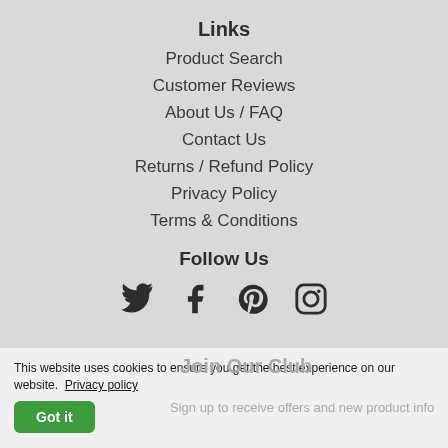Links
Product Search
Customer Reviews
About Us / FAQ
Contact Us
Returns / Refund Policy
Privacy Policy
Terms & Conditions
Follow Us
[Figure (other): Social media icons: Twitter, Facebook, Pinterest, Instagram]
This website uses cookies to ensure you get the best experience on our website. Privacy policy
Got it